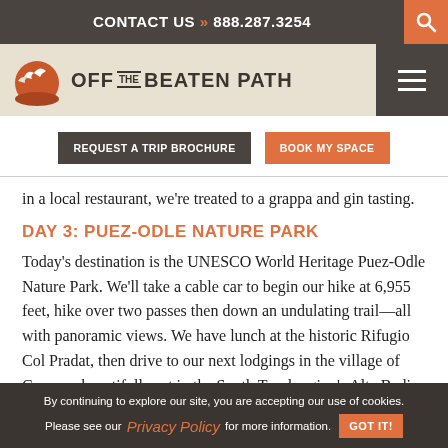CONTACT US » 888.287.3254
[Figure (logo): Off The Beaten Path logo with bird silhouette on orange sun/water graphic]
REQUEST A TRIP BROCHURE
BOOK MY SPACE
in a local restaurant, we're treated to a grappa and gin tasting.
DAY 3: PUEZ-ODLE NATURE PARK
Today's destination is the UNESCO World Heritage Puez-Odle Nature Park. We'll take a cable car to begin our hike at 6,955 feet, hike over two passes then down an undulating trail—all with panoramic views. We have lunch at the historic Rifugio Col Pradat, then drive to our next lodgings in the village of Corvara, beautifully set in the South Tyrol region's Alta Badia valley.
By continuing to explore our site, you are accepting our use of cookies. Please see our Privacy Policy for more information. GOT IT!